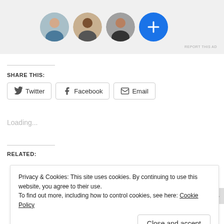[Figure (photo): Ad banner with three circular profile photos and a blue plus button circle]
REPORT THIS AD
SHARE THIS:
Twitter  Facebook  Email
Loading...
RELATED:
Privacy & Cookies: This site uses cookies. By continuing to use this website, you agree to their use.
To find out more, including how to control cookies, see here: Cookie Policy
Close and accept